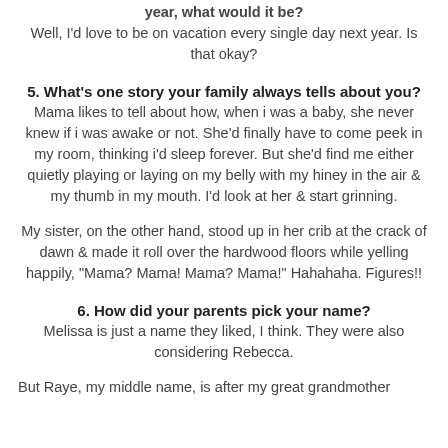year, what would it be?
Well, I'd love to be on vacation every single day next year. Is that okay?
5. What's one story your family always tells about you?
Mama likes to tell about how, when i was a baby, she never knew if i was awake or not. She'd finally have to come peek in my room, thinking i'd sleep forever. But she'd find me either quietly playing or laying on my belly with my hiney in the air & my thumb in my mouth. I'd look at her & start grinning.
My sister, on the other hand, stood up in her crib at the crack of dawn & made it roll over the hardwood floors while yelling happily, "Mama? Mama! Mama? Mama!" Hahahaha. Figures!!
6. How did your parents pick your name?
Melissa is just a name they liked, I think. They were also considering Rebecca.
But Raye, my middle name, is after my great grandmother